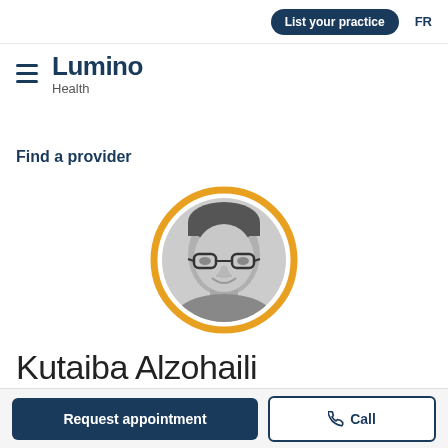List your practice   FR
[Figure (logo): Lumino Health logo with hamburger menu icon, dark navy text reading 'Lumino' in bold and 'Health' below in smaller text]
Find a provider
[Figure (photo): Black and white circular profile photo of Kutaiba Alzohaili, a man wearing glasses and smiling, framed with a gold/amber circular border]
Kutaiba Alzohaili
Request appointment   Call